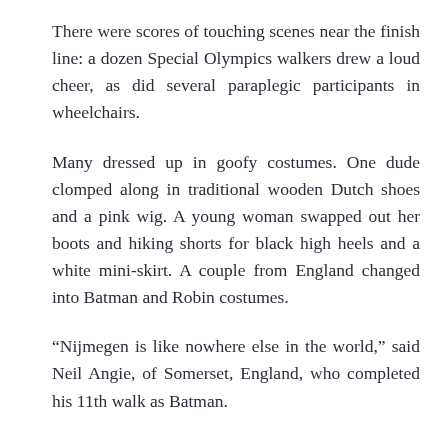There were scores of touching scenes near the finish line: a dozen Special Olympics walkers drew a loud cheer, as did several paraplegic participants in wheelchairs.
Many dressed up in goofy costumes. One dude clomped along in traditional wooden Dutch shoes and a pink wig. A young woman swapped out her boots and hiking shorts for black high heels and a white mini-skirt. A couple from England changed into Batman and Robin costumes.
“Nijmegen is like nowhere else in the world,” said Neil Angie, of Somerset, England, who completed his 11th walk as Batman.